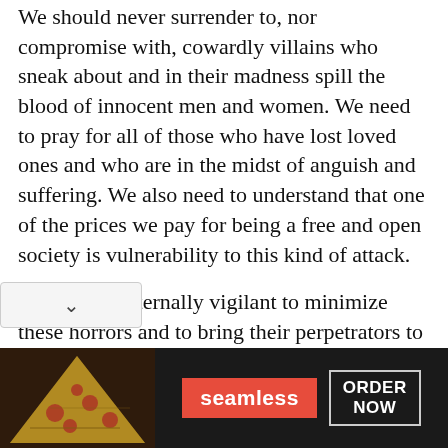We should never surrender to, nor compromise with, cowardly villains who sneak about and in their madness spill the blood of innocent men and women. We need to pray for all of those who have lost loved ones and who are in the midst of anguish and suffering. We also need to understand that one of the prices we pay for being a free and open society is vulnerability to this kind of attack.
We must be eternally vigilant to minimize these horrors and to bring their perpetrators to justice. I salute President Bush for his determination to conduct an all-out campaign "to rout out and whip terrorism." In the face of the unrefined evil of terrorism, this is the only "just" thing to do.
[Figure (other): Advertisement banner for Seamless food delivery service showing pizza image on left, red Seamless logo badge in center, and ORDER NOW button on right, on a dark background.]